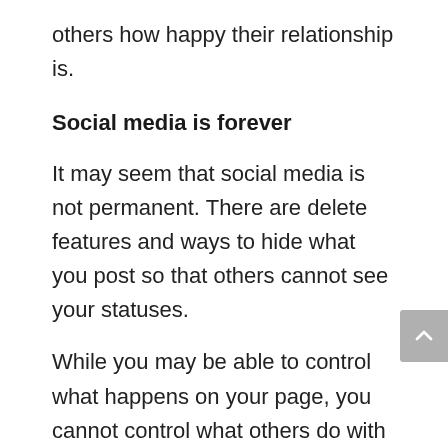others how happy their relationship is.
Social media is forever
It may seem that social media is not permanent. There are delete features and ways to hide what you post so that others cannot see your statuses.
While you may be able to control what happens on your page, you cannot control what others do with that information. Someone in your group of social media friends can screenshot a post and send it to anyone on a variety of platforms, including